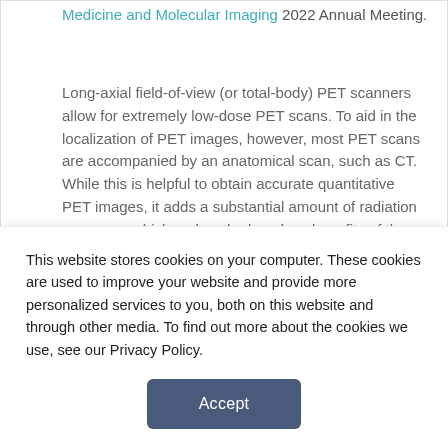Medicine and Molecular Imaging 2022 Annual Meeting.
Long-axial field-of-view (or total-body) PET scanners allow for extremely low-dose PET scans. To aid in the localization of PET images, however, most PET scans are accompanied by an anatomical scan, such as CT. While this is helpful to obtain accurate quantitative PET images, it adds a substantial amount of radiation exposure, which makes the low-dose benefits of the PET scan irrelevant.
To address this issue, researchers conducted a study to determine the feasibility and effectiveness of CT-less PET scans. “Most modern PET scanners use lutetium-based scintillators to detect gamma photons” said
This website stores cookies on your computer. These cookies are used to improve your website and provide more personalized services to you, both on this website and through other media. To find out more about the cookies we use, see our Privacy Policy.